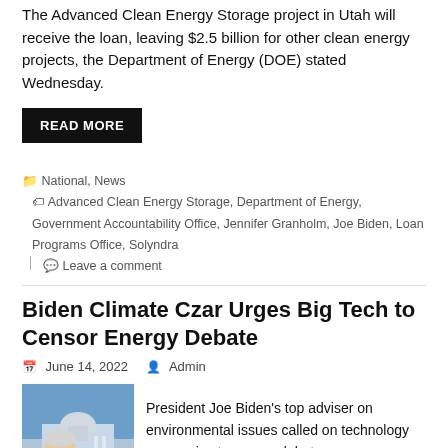The Advanced Clean Energy Storage project in Utah will receive the loan, leaving $2.5 billion for other clean energy projects, the Department of Energy (DOE) stated Wednesday.
READ MORE
National, News   Advanced Clean Energy Storage, Department of Energy, Government Accountability Office, Jennifer Granholm, Joe Biden, Loan Programs Office, Solyndra   Leave a comment
Biden Climate Czar Urges Big Tech to Censor Energy Debate
June 14, 2022   Admin
[Figure (photo): Woman with glasses and blue blazer in front of a government building]
President Joe Biden's top adviser on environmental issues called on technology companies to censor debates on environmental issues and energy policy during a Thursday event.
"The tech companies have to stop allowing specific individuals